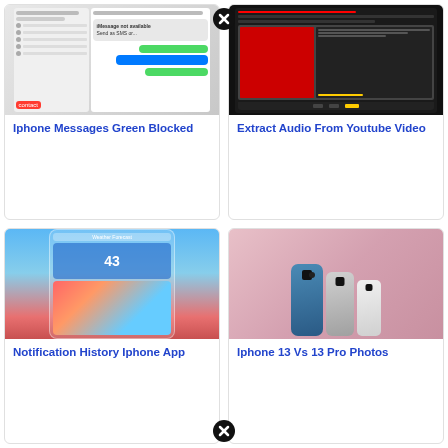[Figure (screenshot): iPhone Messages app screenshot showing green blocked message threads]
Iphone Messages Green Blocked
[Figure (screenshot): YouTube audio extraction interface screenshot with dark theme]
Extract Audio From Youtube Video
[Figure (screenshot): Weather Forecast iPhone app showing temperature 43 and radar map]
Notification History Iphone App
[Figure (photo): Three iPhone 13 Pro models in blue, silver, and white colors on pink background]
Iphone 13 Vs 13 Pro Photos